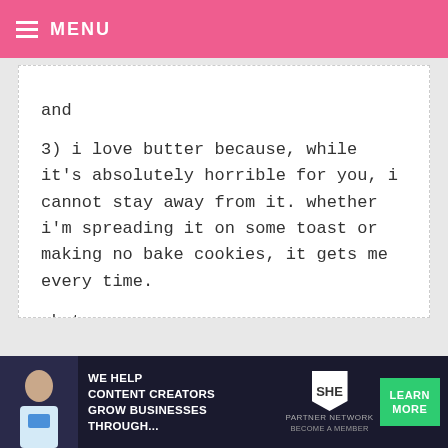MENU
and

3) i love butter because, while it's absolutely horrible for you, i cannot stay away from it. whether i'm spreading it on some toast or making no bake cookies, it gets me every time.

-kate

jaded_anthem@yahoo.com
KRISTY — APRIL 20, 2009 @ 6:01 AM  REPLY
[Figure (infographic): Advertisement banner: SHE Partner Network — We help content creators grow businesses through... Learn More / Become a Member]